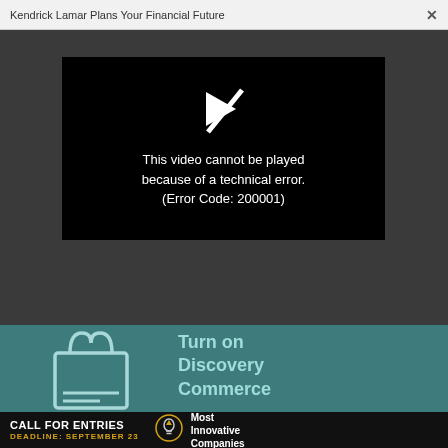Kendrick Lamar Plans Your Financial Future  ×
[Figure (screenshot): Video player error screen on dark grey background. Black video box shows a crossed-out play icon and white text: 'This video cannot be played because of a technical error. (Error Code: 200001)']
[Figure (infographic): Teal banner with shopping bag outline illustration and text 'Turn on Discovery Commerce']
[Figure (infographic): Black bottom ad bar: 'CALL FOR ENTRIES DEADLINE: SEPTEMBER 23' with lightbulb icon and 'Most Innovative Companies']